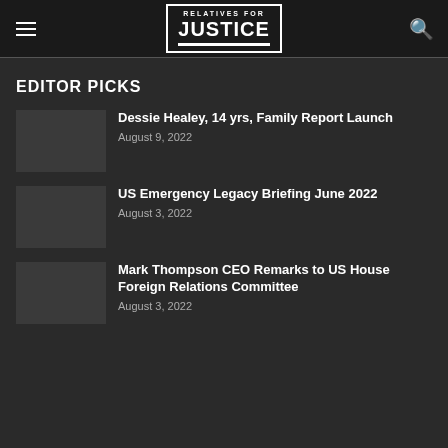Relatives for Justice
EDITOR PICKS
Dessie Healey, 14 yrs, Family Report Launch | August 9, 2022
US Emergency Legacy Briefing June 2022 | August 3, 2022
Mark Thompson CEO Remarks to US House Foreign Relations Committee | August 3, 2022